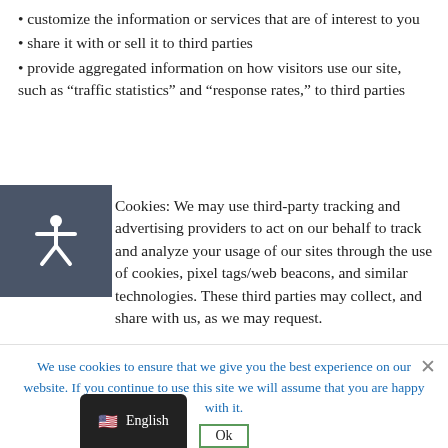customize the information or services that are of interest to you
share it with or sell it to third parties
provide aggregated information on how visitors use our site, such as "traffic statistics" and "response rates," to third parties
Cookies: We may use third-party tracking and advertising providers to act on our behalf to track and analyze your usage of our sites through the use of cookies, pixel tags/web beacons, and similar technologies. These third parties may collect, and share with us, as we may request.
We use cookies to ensure that we give you the best experience on our website. If you continue to use this site we will assume that you are happy with it.